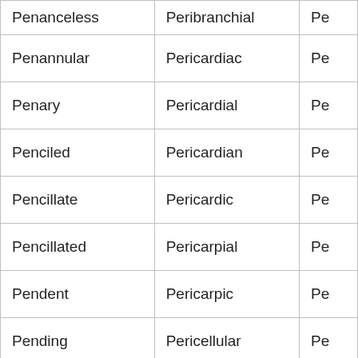| Penanceless | Peribranchial | Pe |
| Penannular | Pericardiac | Pe |
| Penary | Pericardial | Pe |
| Penciled | Pericardian | Pe |
| Pencillate | Pericardic | Pe |
| Pencillated | Pericarpial | Pe |
| Pendent | Pericarpic | Pe |
| Pending | Pericellular | Pe |
| Pendular | Perichaetial | Pe |
| Pendulous | Perichaetous | Pe |
| Pen... | Peri... | Pe |